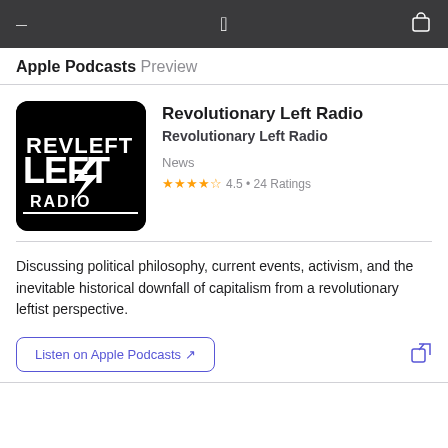Apple Podcasts Preview
[Figure (logo): Revolutionary Left Radio podcast cover art — black background with white stylized text 'REVLEFT RADIO' with lightning bolt graphic]
Revolutionary Left Radio
Revolutionary Left Radio
News
★★★★★ 4.5 • 24 Ratings
Discussing political philosophy, current events, activism, and the inevitable historical downfall of capitalism from a revolutionary leftist perspective.
Listen on Apple Podcasts ↗